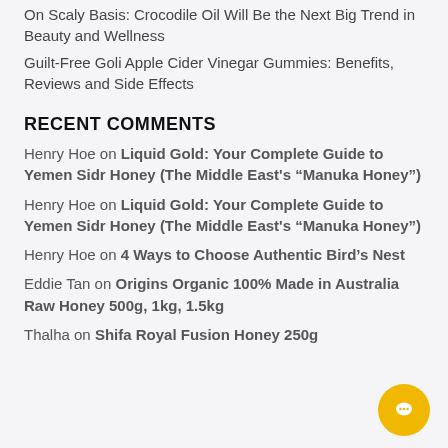On Scaly Basis: Crocodile Oil Will Be the Next Big Trend in Beauty and Wellness
Guilt-Free Goli Apple Cider Vinegar Gummies: Benefits, Reviews and Side Effects
RECENT COMMENTS
Henry Hoe on Liquid Gold: Your Complete Guide to Yemen Sidr Honey (The Middle East's “Manuka Honey”)
Henry Hoe on Liquid Gold: Your Complete Guide to Yemen Sidr Honey (The Middle East's “Manuka Honey”)
Henry Hoe on 4 Ways to Choose Authentic Bird’s Nest
Eddie Tan on Origins Organic 100% Made in Australia Raw Honey 500g, 1kg, 1.5kg
Thalha on Shifa Royal Fusion Honey 250g